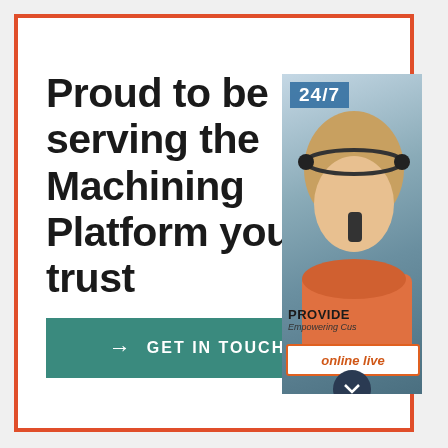Proud to be serving the Machining Platform you can trust
[Figure (infographic): Customer service representative with headset, 24/7 support badge, contact icons (headset, phone, Skype), online live button, scroll arrow]
PROVIDE
Empowering Cus...
online live
→ GET IN TOUCH